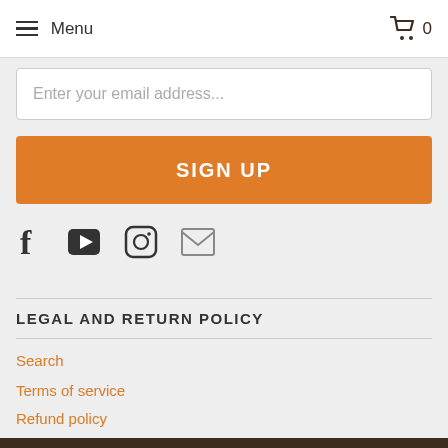Menu   0
Enter your email address...
SIGN UP
[Figure (illustration): Social media icons: Facebook, YouTube, Instagram, Email]
LEGAL AND RETURN POLICY
Search
Terms of service
Refund policy
Privacy Policy